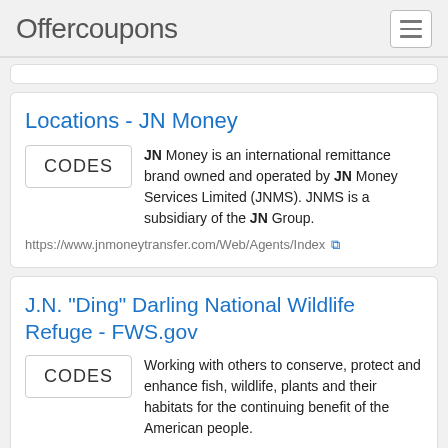Offercoupons
Locations - JN Money
JN Money is an international remittance brand owned and operated by JN Money Services Limited (JNMS). JNMS is a subsidiary of the JN Group.
https://www.jnmoneytransfer.com/Web/Agents/Index
J.N. "Ding" Darling National Wildlife Refuge - FWS.gov
Working with others to conserve, protect and enhance fish, wildlife, plants and their habitats for the continuing benefit of the American people.